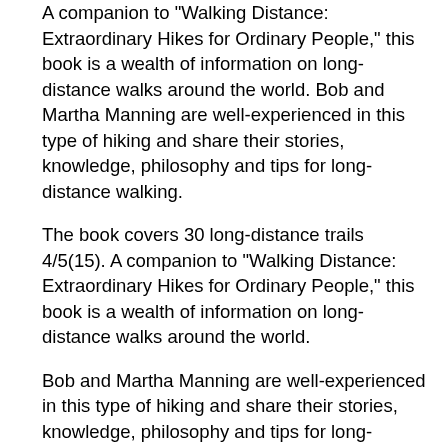A companion to "Walking Distance: Extraordinary Hikes for Ordinary People," this book is a wealth of information on long-distance walks around the world. Bob and Martha Manning are well-experienced in this type of hiking and share their stories, knowledge, philosophy and tips for long-distance walking.
The book covers 30 long-distance trails 4/5(15). A companion to "Walking Distance: Extraordinary Hikes for Ordinary People," this book is a wealth of information on long-distance walks around the world.
Bob and Martha Manning are well-experienced in this type of hiking and share their stories, knowledge, philosophy and tips for long-distance walking/5(13). Henry Hikes To Fitchburg. The first Henry book was published in February and was inspired by a passage from Henry David Thoreau's book received overall enthusiastic reviews, with the New York Times calling it the "Best Illustrated Children's Book of the Year." It also won the Boston Globe-Horn Book Award for picture books.
It went on to be on the New York Times Publisher: